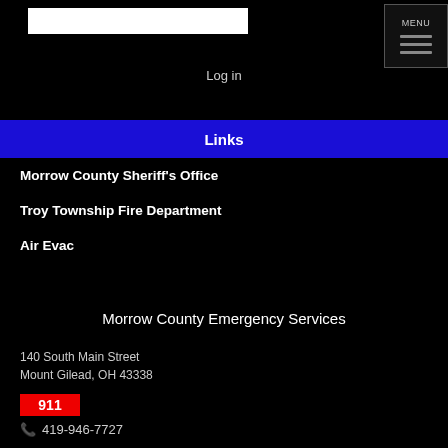Log in
Links
Morrow County Sheriff's Office
Troy Township Fire Department
Air Evac
Morrow County Emergency Services
140 South Main Street
Mount Gilead, OH 43338
911
419-946-7727